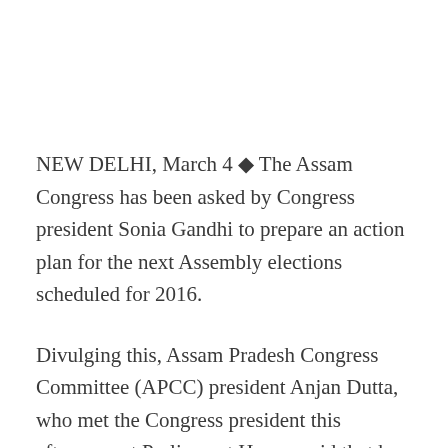NEW DELHI, March 4 ◆ The Assam Congress has been asked by Congress president Sonia Gandhi to prepare an action plan for the next Assembly elections scheduled for 2016.
Divulging this, Assam Pradesh Congress Committee (APCC) president Anjan Dutta, who met the Congress president this afternoon at Parliament House, said that he had briefed her about the political situation in the State and the strategy adopted by the party.